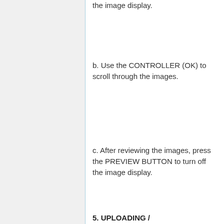the image display.
b. Use the CONTROLLER (OK) to scroll through the images.
c. After reviewing the images, press the PREVIEW BUTTON to turn off the image display.
5. UPLOADING /